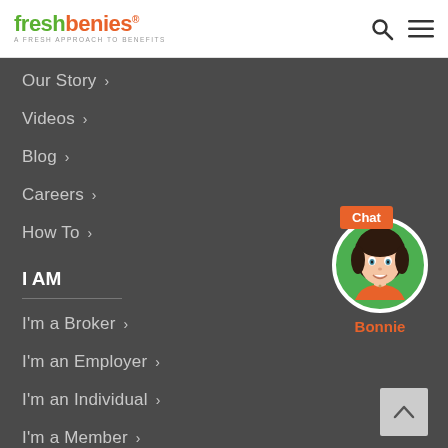freshbenies® A FRESH APPROACH TO BENEFITS
Our Story ›
Videos ›
Blog ›
Careers ›
How To ›
I AM
I'm a Broker ›
I'm an Employer ›
I'm an Individual ›
I'm a Member ›
[Figure (illustration): Bonnie chat avatar - animated female character with dark hair in orange top on green circle background, with Chat badge and name label]